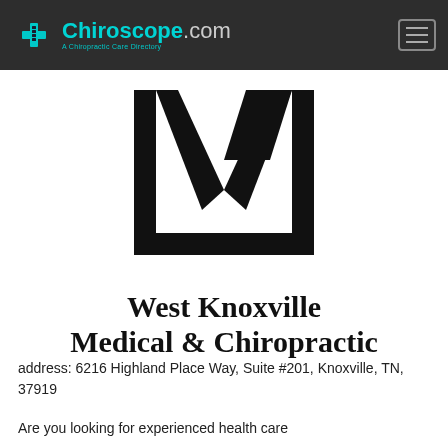Chiroscope.com — A Chiropractic Care Directory
[Figure (logo): West Knoxville Medical & Chiropractic logo — large stylized W/K lettermark in black]
West Knoxville Medical & Chiropractic
address: 6216 Highland Place Way, Suite #201, Knoxville, TN, 37919
Are you looking for experienced health care